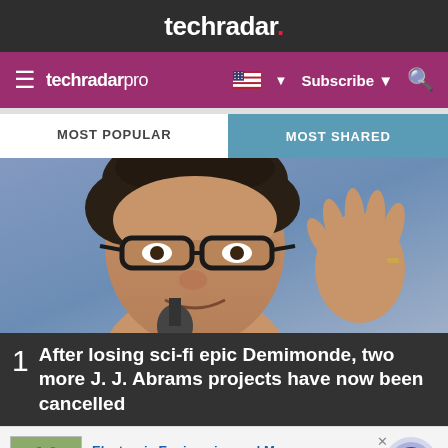techradar.
techradar pro  Subscribe
MOST POPULAR
MOST SHARED
[Figure (photo): Close-up photo of a man with dark curly hair wearing black-rimmed glasses, holding a microphone, gesturing with right hand raised, against a blue blurred background.]
1  After losing sci-fi epic Demimonde, two more J. J. Abrams projects have now been cancelled
Electronic Engineering and More
visit tbrelectronics.com/ to learn more
www.tbrelectronics.com